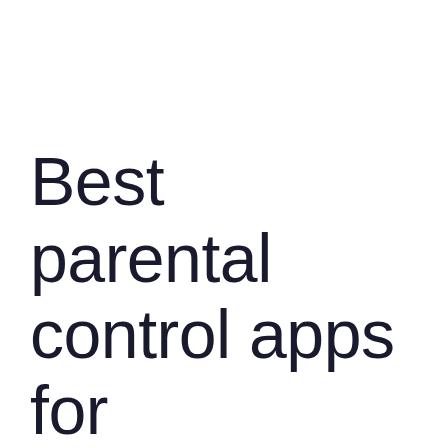Best parental control apps for